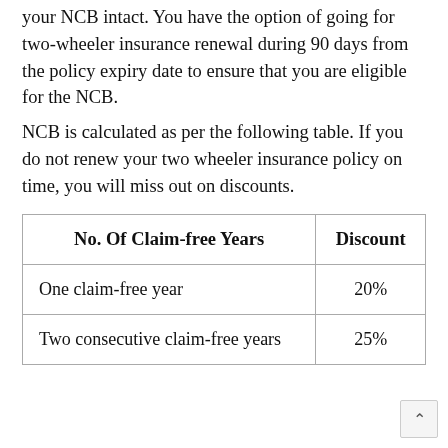your NCB intact. You have the option of going for two-wheeler insurance renewal during 90 days from the policy expiry date to ensure that you are eligible for the NCB.
NCB is calculated as per the following table. If you do not renew your two wheeler insurance policy on time, you will miss out on discounts.
| No. Of Claim-free Years | Discount |
| --- | --- |
| One claim-free year | 20% |
| Two consecutive claim-free years | 25% |